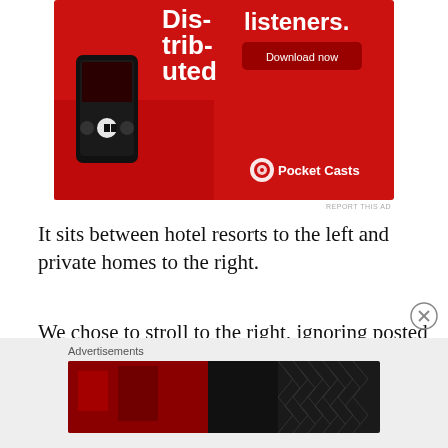[Figure (photo): Advertisement for Pocket Casts app on red background showing smartphone with podcast app, text 'Dis-trib-uted' and 'listeners.' with a Download now button and Pocket Casts logo]
REPORT THIS AD
It sits between hotel resorts to the left and private homes to the right.
We chose to stroll to the right, ignoring posted signs and hoping owners were not feeling the need to dial 911 on anybody this cool, gray day.
Advertisements
[Figure (photo): Bottom advertisement banner with dark red and black design with diamond pattern]